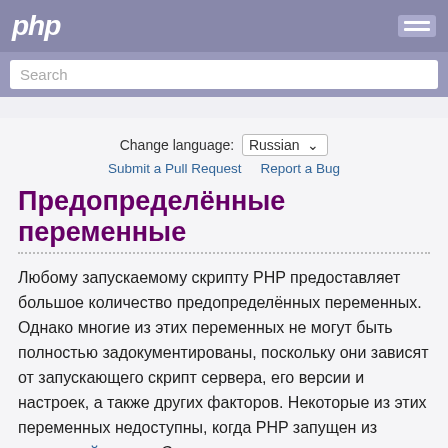php
Search
Change language: Russian
Submit a Pull Request   Report a Bug
Предопределённые переменные
Любому запускаемому скрипту PHP предоставляет большое количество предопределённых переменных. Однако многие из этих переменных не могут быть полностью задокументированы, поскольку они зависят от запускающего скрипт сервера, его версии и настроек, а также других факторов. Некоторые из этих переменных недоступны, когда PHP запущен из командной строки. Смотрите список зарезервированных предопределённых переменных для получения